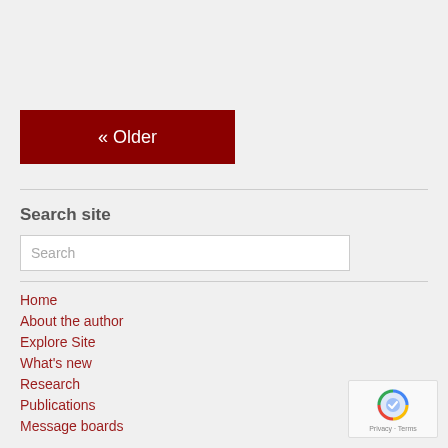« Older
Search site
Home
About the author
Explore Site
What's new
Research
Publications
Message boards